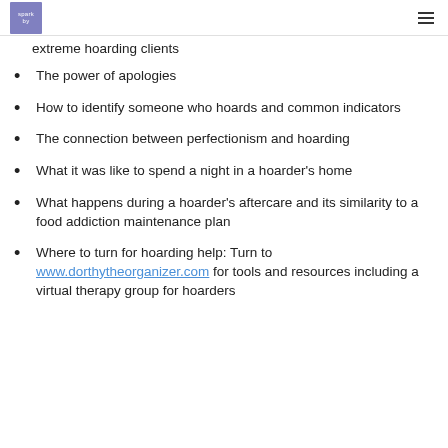sparkby [logo] [hamburger menu]
extreme hoarding clients
The power of apologies
How to identify someone who hoards and common indicators
The connection between perfectionism and hoarding
What it was like to spend a night in a hoarder's home
What happens during a hoarder's aftercare and its similarity to a food addiction maintenance plan
Where to turn for hoarding help: Turn to www.dorthytheorganizer.com for tools and resources including a virtual therapy group for hoarders